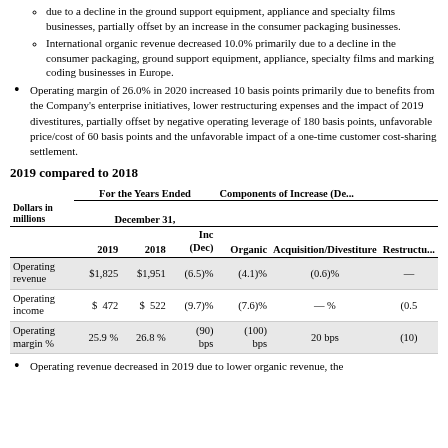due to a decline in the ground support equipment, appliance and specialty films businesses, partially offset by an increase in the consumer packaging businesses.
International organic revenue decreased 10.0% primarily due to a decline in the consumer packaging, ground support equipment, appliance, specialty films and marking coding businesses in Europe.
Operating margin of 26.0% in 2020 increased 10 basis points primarily due to benefits from the Company's enterprise initiatives, lower restructuring expenses and the impact of 2019 divestitures, partially offset by negative operating leverage of 180 basis points, unfavorable price/cost of 60 basis points and the unfavorable impact of a one-time customer cost-sharing settlement.
2019 compared to 2018
|  | 2019 | 2018 | Inc (Dec) | Organic | Acquisition/Divestiture | Restructu... |
| --- | --- | --- | --- | --- | --- | --- |
| Operating revenue | $1,825 | $1,951 | (6.5)% | (4.1)% | (0.6)% | — |
| Operating income | $ 472 | $ 522 | (9.7)% | (7.6)% | — % | (0.5) |
| Operating margin % | 25.9 % | 26.8 % | (90) bps | (100) bps | 20 bps | (10) |
Operating revenue decreased in 2019 due to lower organic revenue, the